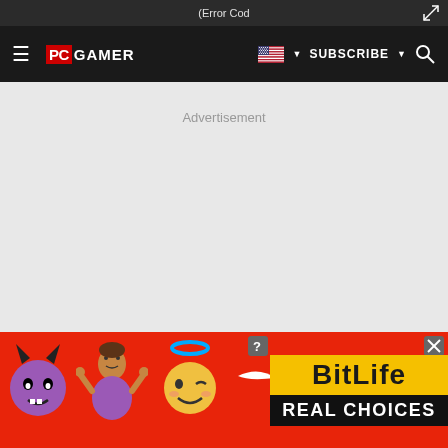(Error Cod
[Figure (screenshot): PC Gamer website navigation bar with hamburger menu, PC Gamer logo, US flag dropdown, SUBSCRIBE button, and search icon on dark background]
Advertisement
[Figure (infographic): BitLife advertisement banner with red background showing devil emoji, person shrugging emoji, angel emoji, sperm icon, BitLife logo in yellow, and REAL CHOICES text in black bar]